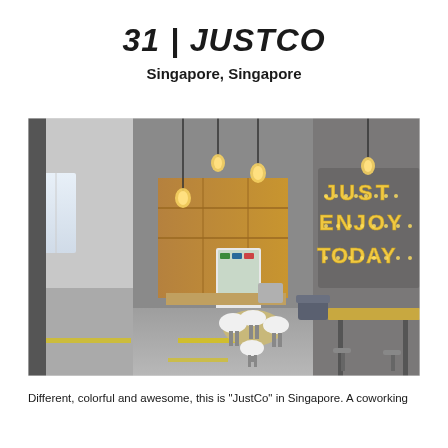31 | JUSTCO
Singapore, Singapore
[Figure (photo): Interior of JustCo coworking space in Singapore showing a kitchen/lounge area with wooden cabinetry, hanging Edison bulb lights, exposed ceiling with industrial design, a round dining table with white chairs, and a wall sign reading 'JUST ENJOY TODAY' in illuminated letters. A hallway is visible on the left side.]
Different, colorful and awesome, this is "JustCo" in Singapore. A coworking